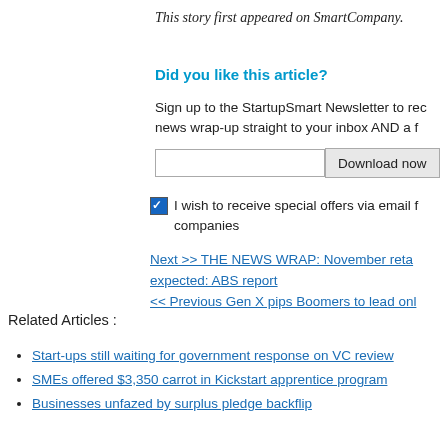This story first appeared on SmartCompany.
Did you like this article?
Sign up to the StartupSmart Newsletter to receive news wrap-up straight to your inbox AND a f
I wish to receive special offers via email fr companies
Next >> THE NEWS WRAP: November reta expected: ABS report
<< Previous Gen X pips Boomers to lead onl
Related Articles :
Start-ups still waiting for government response on VC review
SMEs offered $3,350 carrot in Kickstart apprentice program
Businesses unfazed by surplus pledge backflip